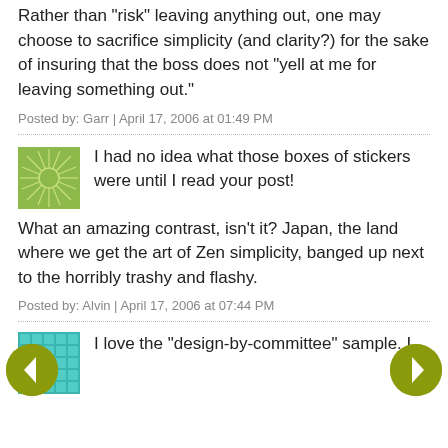Rather than "risk" leaving anything out, one may choose to sacrifice simplicity (and clarity?) for the sake of insuring that the boss does not "yell at me for leaving something out."
Posted by: Garr | April 17, 2006 at 01:49 PM
[Figure (illustration): Green sunburst avatar icon]
I had no idea what those boxes of stickers were until I read your post!
What an amazing contrast, isn't it? Japan, the land where we get the art of Zen simplicity, banged up next to the horribly trashy and flashy.
Posted by: Alvin | April 17, 2006 at 07:44 PM
[Figure (illustration): Teal mosaic/tile pattern avatar icon]
I love the "design-by-committee" sample. I